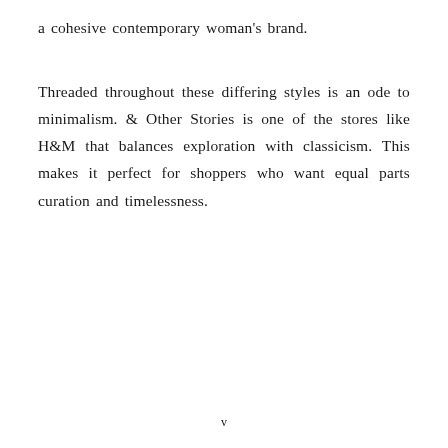a cohesive contemporary woman's brand.
Threaded throughout these differing styles is an ode to minimalism. & Other Stories is one of the stores like H&M that balances exploration with classicism. This makes it perfect for shoppers who want equal parts curation and timelessness.
v